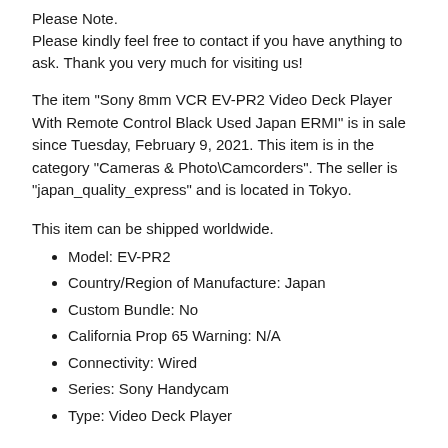Please Note.
Please kindly feel free to contact if you have anything to ask. Thank you very much for visiting us!
The item "Sony 8mm VCR EV-PR2 Video Deck Player With Remote Control Black Used Japan ERMI" is in sale since Tuesday, February 9, 2021. This item is in the category "Cameras & Photo\Camcorders". The seller is "japan_quality_express" and is located in Tokyo.
This item can be shipped worldwide.
Model: EV-PR2
Country/Region of Manufacture: Japan
Custom Bundle: No
California Prop 65 Warning: N/A
Connectivity: Wired
Series: Sony Handycam
Type: Video Deck Player